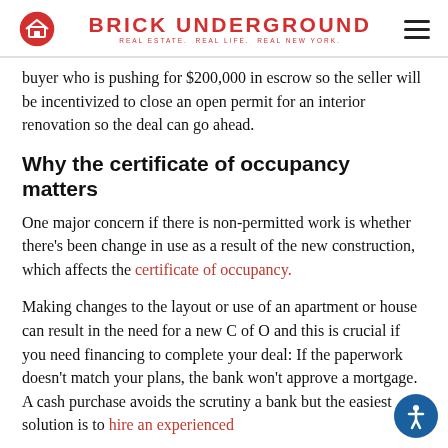BRICK UNDERGROUND — REAL ESTATE. REAL LIFE. REAL NEW YORK.
buyer who is pushing for $200,000 in escrow so the seller will be incentivized to close an open permit for an interior renovation so the deal can go ahead.
Why the certificate of occupancy matters
One major concern if there is non-permitted work is whether there's been change in use as a result of the new construction, which affects the certificate of occupancy.
Making changes to the layout or use of an apartment or house can result in the need for a new C of O and this is crucial if you need financing to complete your deal: If the paperwork doesn't match your plans, the bank won't approve a mortgage. A cash purchase avoids the scrutiny a bank but the easiest solution is to hire an experienced